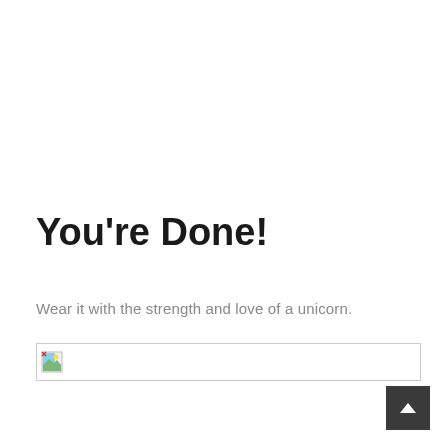You're Done!
Wear it with the strength and love of a unicorn.
[Figure (photo): Broken image placeholder with small icon in a bordered rectangle]
[Figure (other): Dark grey scroll-to-top button with upward chevron arrow]